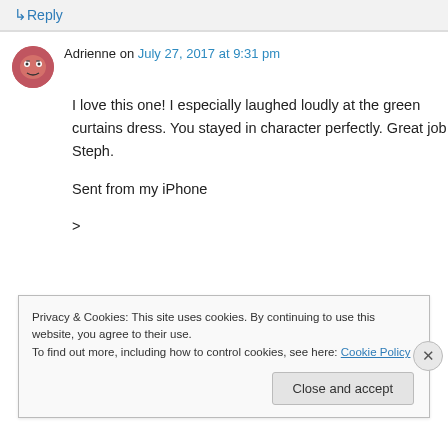↳ Reply
Adrienne on July 27, 2017 at 9:31 pm
I love this one! I especially laughed loudly at the green curtains dress. You stayed in character perfectly. Great job Steph.

Sent from my iPhone

>
Privacy & Cookies: This site uses cookies. By continuing to use this website, you agree to their use.
To find out more, including how to control cookies, see here: Cookie Policy
Close and accept